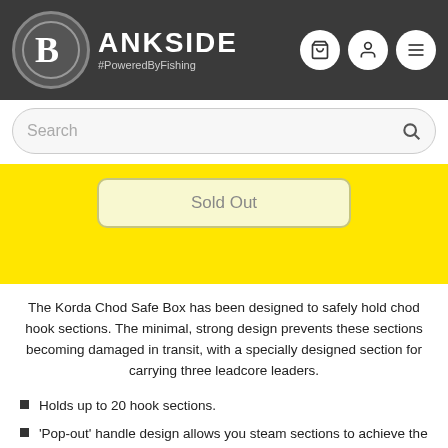BANKSIDE #PoweredByFishing
Search
[Figure (screenshot): Sold Out button on yellow background]
The Korda Chod Safe Box has been designed to safely hold chod hook sections. The minimal, strong design prevents these sections becoming damaged in transit, with a specially designed section for carrying three leadcore leaders.
Holds up to 20 hook sections.
'Pop-out' handle design allows you steam sections to achieve the perfect curve and doubles up as a compartment to hold the pins.
Two sized sections allows storage of long and short